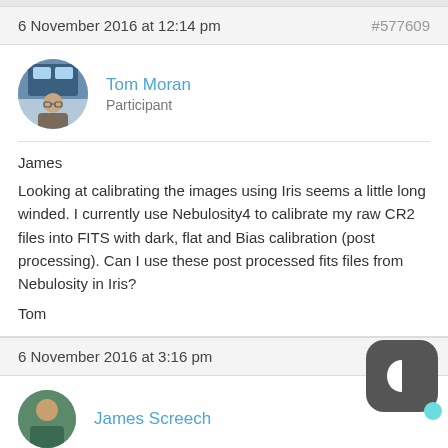6 November 2016 at 12:14 pm   #577609
Tom Moran
Participant
James
Looking at calibrating the images using Iris seems a little long winded. I currently use Nebulosity4 to calibrate my raw CR2 files into FITS with dark, flat and Bias calibration (post processing). Can I use these post processed fits files from Nebulosity in Iris?
Tom
6 November 2016 at 3:16 pm   #
James Screech